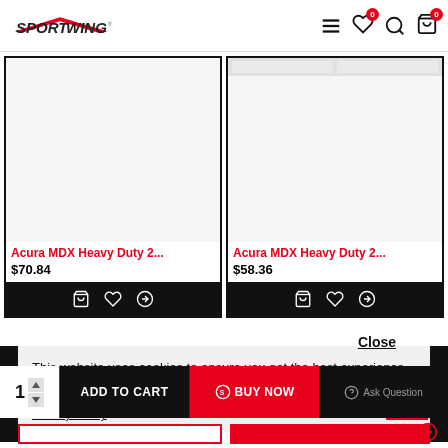SPORTWING header with navigation icons
[Figure (screenshot): Product card left: Acura MDX Heavy Duty 2... $70.84 with action icons]
[Figure (screenshot): Product card right: Acura MDX Heavy Duty 2... $58.36 with action icons]
Close
This website uses cookies to ensure you get the best experience on our website.
Privacy Policy
ADD TO CART
BUY NOW
Ask Question